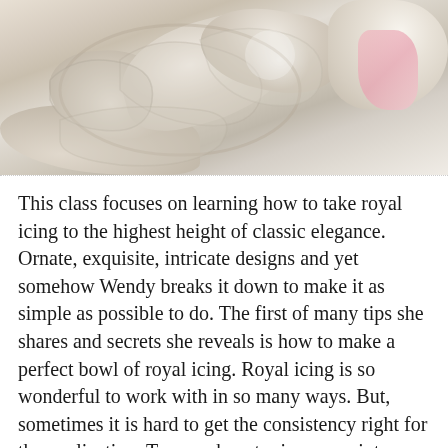[Figure (photo): Close-up photograph of an ornately decorated white/cream royal icing cake with intricate swirl and scroll decorations, with a pink floral accent visible in the upper right corner.]
This class focuses on learning how to take royal icing to the highest height of classic elegance. Ornate, exquisite, intricate designs and yet somehow Wendy breaks it down to make it as simple as possible to do. The first of many tips she shares and secrets she reveals is how to make a perfect bowl of royal icing. Royal icing is so wonderful to work with in so many ways. But, sometimes it is hard to get the consistency right for the application. Too much water in your mixture and you might as well flood cookies, not enough water and you might as well use it to cement gingerbread houses! (And I have done both many times!) But, Wendy has a wonderful recipe she shares. Along with that, she describes for...